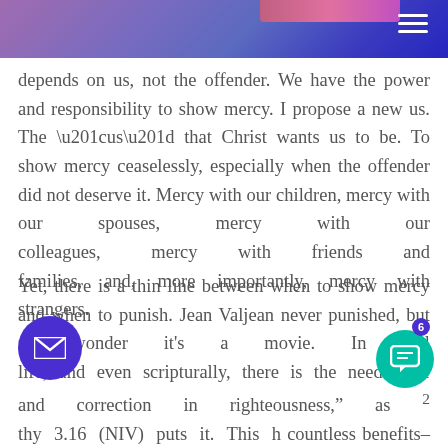depends on us, not the offender. We have the power and responsibility to show mercy. I propose a new us. The “us” that Christ wants us to be. To show mercy ceaselessly, especially when the offender did not deserve it. Mercy with our children, mercy with our spouses, mercy with our colleagues, mercy with friends and families, and, more importantly, mercy with strangers.
Yet, there is a thin line between when to show mercy and when to punish. Jean Valjean never punished, but no wonder it’s a movie. In real life, and even scripturally, there is the need “buke and correction in righteousness,” as 2 thy 3.16 (NIV) puts it. This h countless benefits– to deter the next person